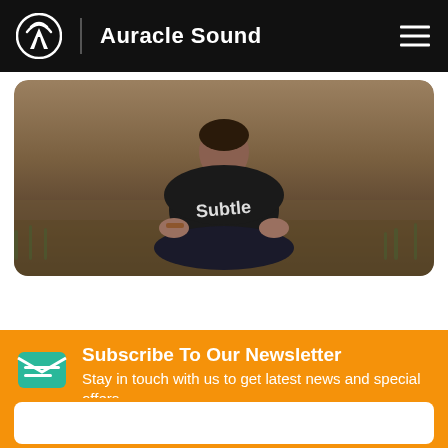Auracle Sound
[Figure (photo): Person sitting cross-legged outdoors on dry ground, wearing a dark shirt with 'Subtle' text, hands resting on knees in a meditation pose]
Subscribe To Our Newsletter
Stay in touch with us to get latest news and special offers